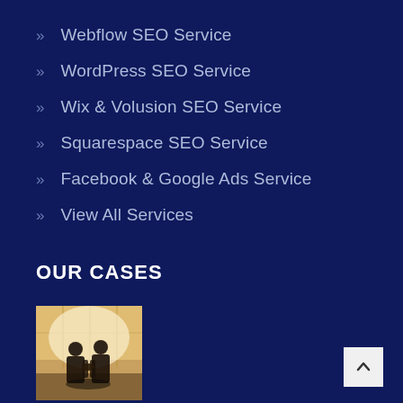Webflow SEO Service
WordPress SEO Service
Wix & Volusion SEO Service
Squarespace SEO Service
Facebook & Google Ads Service
View All Services
OUR CASES
[Figure (photo): Two silhouetted figures shaking hands in a bright airport or office with large windows]